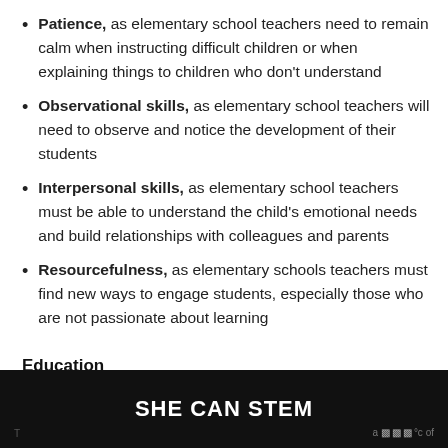Patience, as elementary school teachers need to remain calm when instructing difficult children or when explaining things to children who don't understand
Observational skills, as elementary school teachers will need to observe and notice the development of their students
Interpersonal skills, as elementary school teachers must be able to understand the child's emotional needs and build relationships with colleagues and parents
Resourcefulness, as elementary schools teachers must find new ways to engage students, especially those who are not passionate about learning
Education
SHE CAN STEM